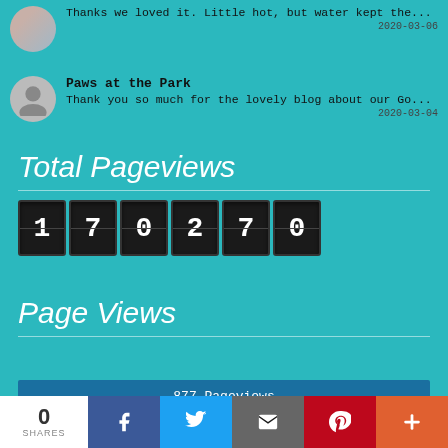Thanks we loved it. Little hot, but water kept the...
2020-03-06
Paws at the Park
Thank you so much for the lovely blog about our Go...
2020-03-04
Total Pageviews
[Figure (other): Odometer-style digit counter showing 170270]
Page Views
877 Pageviews
Jul. 25th - Aug. 25th
0 SHARES